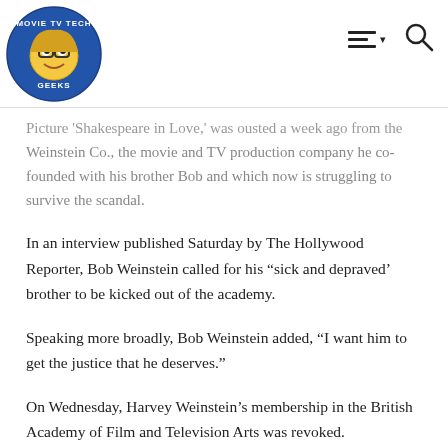Movie TV Tech Geeks [logo] [navigation icons]
Picture 'Shakespeare in Love,' was ousted a week ago from the Weinstein Co., the movie and TV production company he co-founded with his brother Bob and which now is struggling to survive the scandal.
In an interview published Saturday by The Hollywood Reporter, Bob Weinstein called for his “sick and depraved’ brother to be kicked out of the academy.
Speaking more broadly, Bob Weinstein added, “I want him to get the justice that he deserves.”
On Wednesday, Harvey Weinstein’s membership in the British Academy of Film and Television Arts was revoked.
In a related development, British actress Lysette Anthony says she has